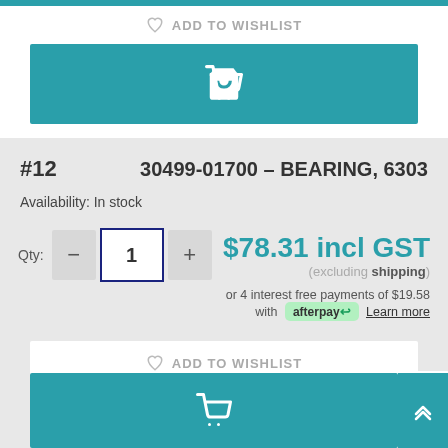ADD TO WISHLIST
[Figure (screenshot): Teal add to cart button with shopping cart icon]
#12   30499-01700 - BEARING, 6303
Availability: In stock
Qty: 1   $78.31 incl GST
(excluding shipping)
or 4 interest free payments of $19.58 with afterpay Learn more
ADD TO WISHLIST
[Figure (screenshot): Teal add to cart button with shopping cart icon (bottom)]